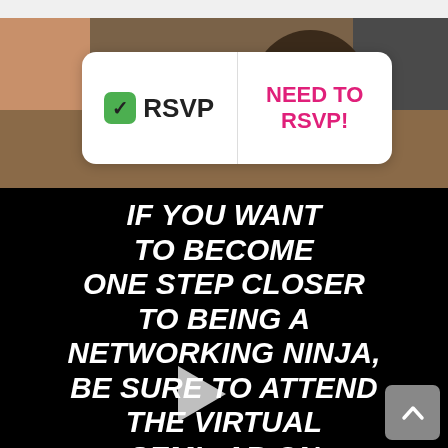[Figure (screenshot): Top portion showing a desk scene with skin-tone arm, wooden desk surface, dark device top-right. Overlaid white rounded-corner box with green checkmark RSVP button on left and 'NEED TO RSVP!' in pink on right.]
✅RSVP
NEED TO RSVP!
[Figure (screenshot): Black background section with bold white italic uppercase text: IF YOU WANT TO BECOME ONE STEP CLOSER TO BEING A NETWORKING NINJA, BE SURE TO ATTEND THE VIRTUAL SEMINAR ON AUGUST 20TH @ 9:30AM PST LED BY MPEG MEMBER & AWARD-WINNING EDITOR & PRODUCER. A white play button triangle overlays the center-lower portion. A gray scroll-to-top button is in the bottom-right corner.]
IF YOU WANT TO BECOME ONE STEP CLOSER TO BEING A NETWORKING NINJA, BE SURE TO ATTEND THE VIRTUAL SEMINAR ON AUGUST 20TH @ 9:30AM PST LED BY MPEG MEMBER  & AWARD-WINNING EDITOR & PRODUCER